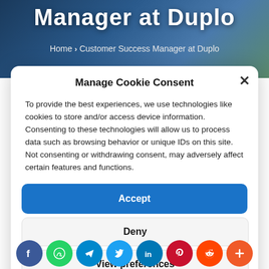[Figure (screenshot): Background image of a website header with dark blue/teal overlay and food image, showing 'Manager at Duplo' text and breadcrumb navigation]
Manager at Duplo
Home › Customer Success Manager at Duplo
Manage Cookie Consent
To provide the best experiences, we use technologies like cookies to store and/or access device information. Consenting to these technologies will allow us to process data such as browsing behavior or unique IDs on this site. Not consenting or withdrawing consent, may adversely affect certain features and functions.
Accept
Deny
View preferences
[Figure (infographic): Social sharing icons row: Facebook (dark blue), WhatsApp (green), Telegram (blue), Twitter (light blue), LinkedIn (blue), Pinterest (red), Reddit (orange-red), More/Plus (orange)]